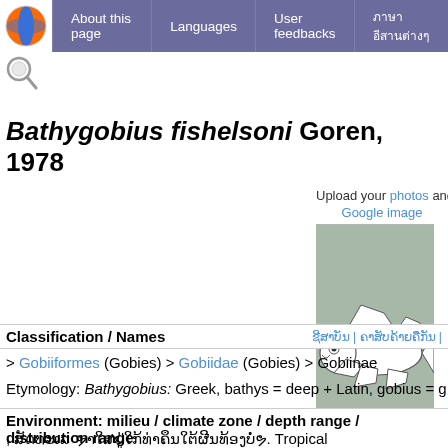About this page | Languages | User feedbacks | ภาษาอีสานต่างๆ
Bathygobius fishelsoni Goren, 1978
Upload your photos and v
Google image
[Figure (illustration): Line drawing of a goby fish (Bathygobius) on grey background, shown in lateral view with fins extended]
No image available for this sp drawing shows typical species in
Classification / Names
> Gobiiformes (Gobies) > Gobiidae (Gobies) > Gobiinae
Etymology: Bathygobius: Greek, bathys = deep + Latin, gobius = g
Environment: milieu / climate zone / depth range / distribution range
; ສັດທະເລ ຯາໃສຢູ່ໃກ້ທ່າຄຶນໃຕ້ຜີນທ້ອງບໍ່ຯ. Tropical